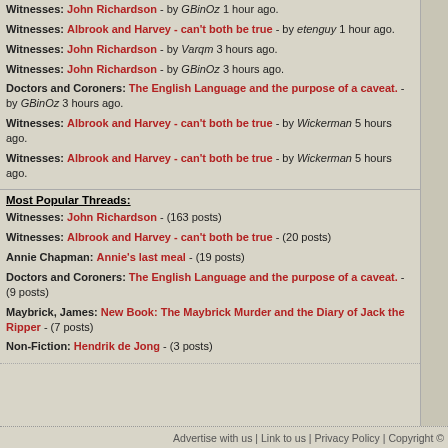Witnesses: John Richardson - by GBinOz 1 hour ago.
Witnesses: Albrook and Harvey - can't both be true - by etenguy 1 hour ago.
Witnesses: John Richardson - by Varqm 3 hours ago.
Witnesses: John Richardson - by GBinOz 3 hours ago.
Doctors and Coroners: The English Language and the purpose of a caveat. - by GBinOz 3 hours ago.
Witnesses: Albrook and Harvey - can't both be true - by Wickerman 5 hours ago.
Witnesses: Albrook and Harvey - can't both be true - by Wickerman 5 hours ago.
Most Popular Threads:
Witnesses: John Richardson - (163 posts)
Witnesses: Albrook and Harvey - can't both be true - (20 posts)
Annie Chapman: Annie's last meal - (19 posts)
Doctors and Coroners: The English Language and the purpose of a caveat. - (9 posts)
Maybrick, James: New Book: The Maybrick Murder and the Diary of Jack the Ripper - (7 posts)
Non-Fiction: Hendrik de Jong - (3 posts)
Advertise with us | Link to us | Privacy Policy | Copyright ©